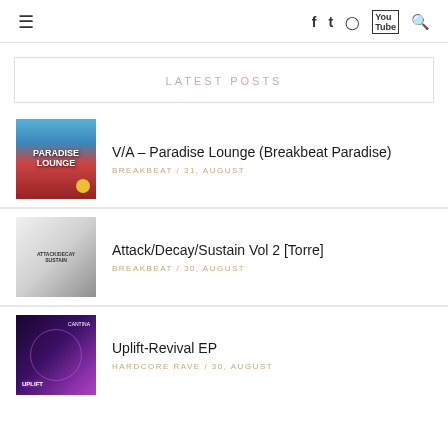≡  f  t  ⊙  ▶  🔍
LATEST POSTS
V/A – Paradise Lounge (Breakbeat Paradise)
BREAKBEAT / 31, AUGUST
Attack/Decay/Sustain Vol 2 [Torre]
BREAKBEAT / 30, AUGUST
Uplift-Revival EP
HARDCORE RAVE / 30, AUGUST